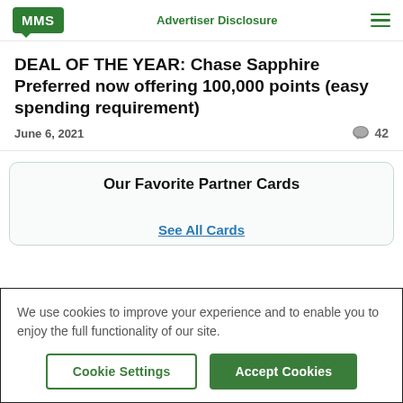MMS | Advertiser Disclosure
DEAL OF THE YEAR: Chase Sapphire Preferred now offering 100,000 points (easy spending requirement)
June 6, 2021   💬 42
Our Favorite Partner Cards
See All Cards
We use cookies to improve your experience and to enable you to enjoy the full functionality of our site.
Cookie Settings | Accept Cookies